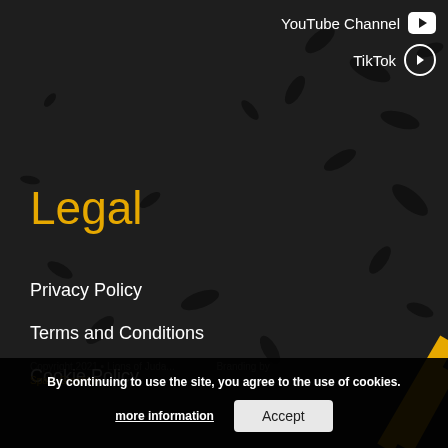YouTube Channel
TikTok
Legal
Privacy Policy
Terms and Conditions
Cookie Policy
Copyright 2021 • Lions of Juda... Branding by Spark Graphics
By continuing to use the site, you agree to the use of cookies. more information  Accept